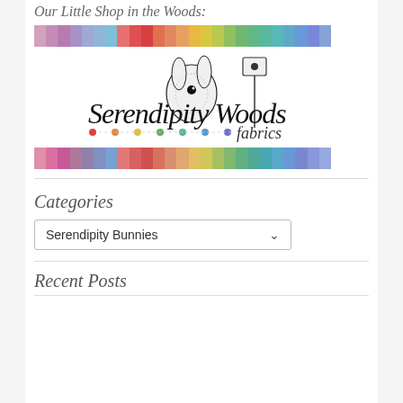Our Little Shop in the Woods:
[Figure (logo): Serendipity Woods Fabrics logo with colorful fabric swatches above and below, a bunny illustration in the center, and cursive text reading 'Serendipity Woods fabrics' with colorful dot decorations]
Categories
Serendipity Bunnies
Recent Posts